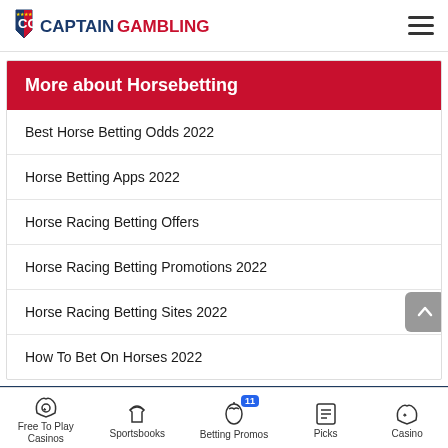CAPTAIN GAMBLING
More about Horsebetting
Best Horse Betting Odds 2022
Horse Betting Apps 2022
Horse Racing Betting Offers
Horse Racing Betting Promotions 2022
Horse Racing Betting Sites 2022
How To Bet On Horses 2022
[Figure (screenshot): BetRivers.net Social Casino Promo ad banner: Daily Rewards up to 10k VC$]
Free To Play Casinos | Sportsbooks | Betting Promos | Picks | Casino